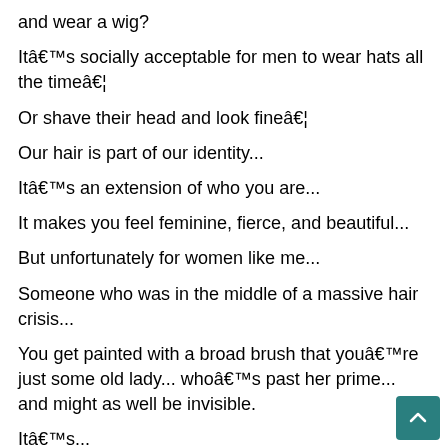and wear a wig?
Itâs socially acceptable for men to wear hats all the timeâ¦
Or shave their head and look fineâ¦
Our hair is part of our identity...
Itâs an extension of who you are...
It makes you feel feminine, fierce, and beautiful...
But unfortunately for women like me...
Someone who was in the middle of a massive hair crisis...
You get painted with a broad brush that youâre just some old lady... whoâs past her prime... and might as well be invisible.
Itâs...